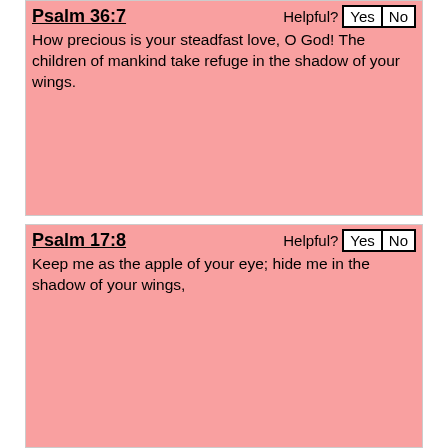Psalm 36:7
How precious is your steadfast love, O God! The children of mankind take refuge in the shadow of your wings.
Psalm 17:8
Keep me as the apple of your eye; hide me in the shadow of your wings,
Psalm 31:20